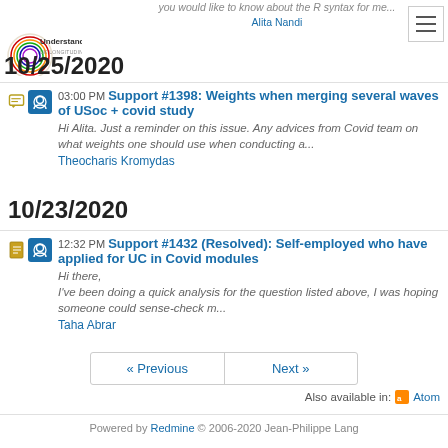[Figure (logo): Understanding Society UK Longitudinal Study circular logo with colorful rings]
you would like to know about the R syntax for me... Alita Nandi
10/25/2020
03:00 PM Support #1398: Weights when merging several waves of USoc + covid study
Hi Alita. Just a reminder on this issue. Any advices from Covid team on what weights one should use when conducting a...
Theocharis Kromydas
10/23/2020
12:32 PM Support #1432 (Resolved): Self-employed who have applied for UC in Covid modules
Hi there,
I've been doing a quick analysis for the question listed above, I was hoping someone could sense-check m...
Taha Abrar
« Previous   Next »
Also available in: Atom
Powered by Redmine © 2006-2020 Jean-Philippe Lang